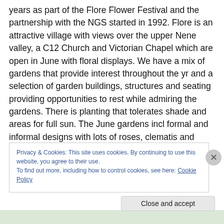years as part of the Flore Flower Festival and the partnership with the NGS started in 1992. Flore is an attractive village with views over the upper Nene valley, a C12 Church and Victorian Chapel which are open in June with floral displays. We have a mix of gardens that provide interest throughout the yr and a selection of garden buildings, structures and seating providing opportunities to rest while admiring the gardens. There is planting that tolerates shade and areas for full sun. The June gardens incl formal and informal designs with lots of roses, clematis and many varieties of trees, shrubs, perennials,
Privacy & Cookies: This site uses cookies. By continuing to use this website, you agree to their use.
To find out more, including how to control cookies, see here: Cookie Policy
Close and accept